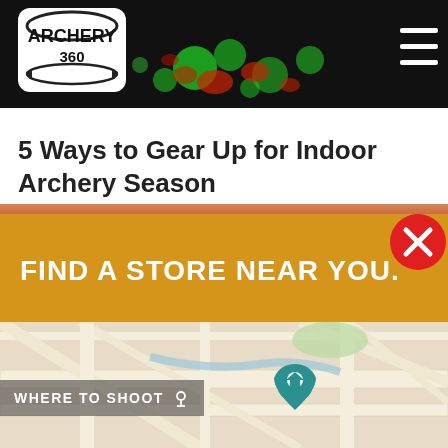[Figure (screenshot): Archery 360 website header with dark background, bokeh green and red lights, logo top-left and hamburger menu top-right]
5 Ways to Gear Up for Indoor Archery Season
[Figure (screenshot): Golden banner overlay with text FIND A STORE NEAR YOU. and a red close/X button in the top-right corner]
[Figure (map): Street map showing road network with a teal location pin marker in the center, beige and white road colors]
WHERE TO SHOOT